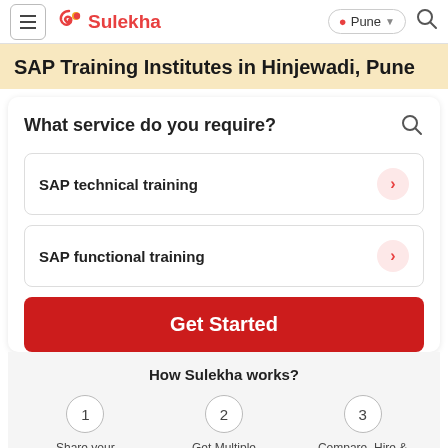Sulekha | Pune
SAP Training Institutes in Hinjewadi, Pune
What service do you require?
SAP technical training
SAP functional training
Get Started
How Sulekha works?
1 Share your requirement With
2 Get Multiple quotes from
3 Compare, Hire & Get Hassle Free